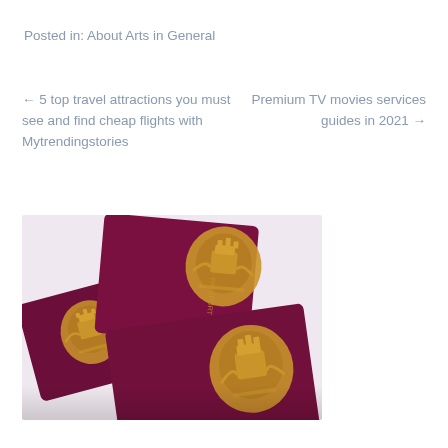Posted in: About Arts in General
← 5 top travel attractions you must see and find cheap flights with Mytrendingstories
Premium TV movies services guides in 2021 →
[Figure (photo): Multiple burgundy/maroon UK passports with gold royal coat of arms crests, fanned out overlapping each other on a white surface, photographed from above at an angle. The word PASSPORT is visible on one cover.]